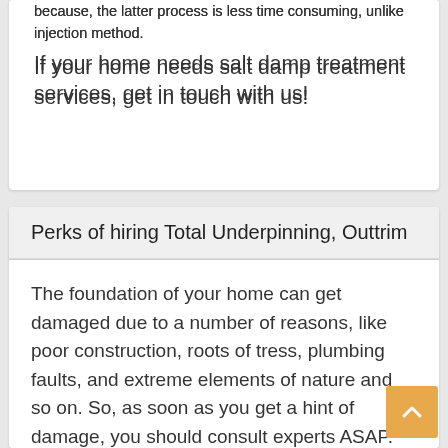because, the latter process is less time consuming, unlike injection method.
If your home needs salt damp treatment services, get in touch with us!
Perks of hiring Total Underpinning, Outtrim
The foundation of your home can get damaged due to a number of reasons, like poor construction, roots of tress, plumbing faults, and extreme elements of nature and so on. So, as soon as you get a hint of damage, you should consult experts ASAP. We at Total Underpinning promise you guaranteed a result, high-quality services, and commitment at its best.